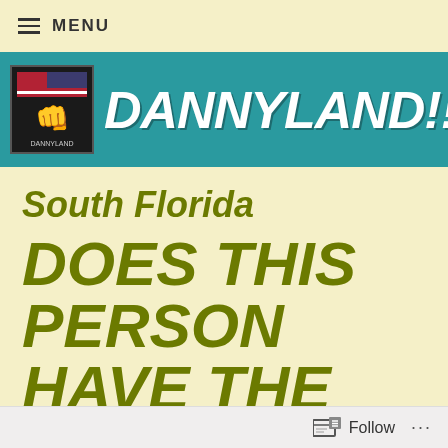≡ MENU
DANNYLAND!!!!
South Florida
DOES THIS PERSON HAVE THE POWER TO
Follow ...